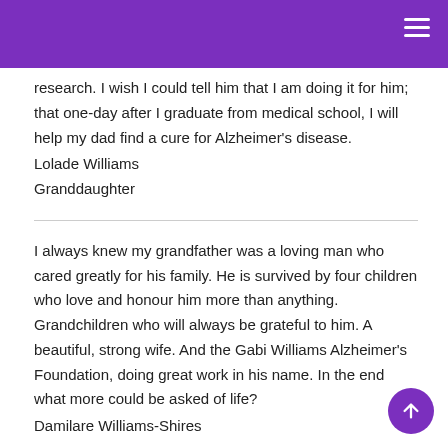research. I wish I could tell him that I am doing it for him; that one-day after I graduate from medical school, I will help my dad find a cure for Alzheimer's disease.
Lolade Williams
Granddaughter
I always knew my grandfather was a loving man who cared greatly for his family. He is survived by four children who love and honour him more than anything. Grandchildren who will always be grateful to him. A beautiful, strong wife. And the Gabi Williams Alzheimer's Foundation, doing great work in his name. In the end what more could be asked of life?
Damilare Williams-Shires